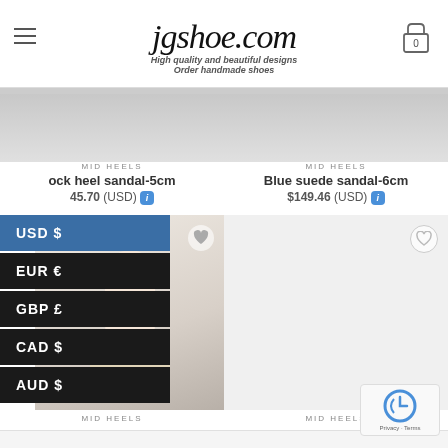jgshoe.com — High quality and beautiful designs. Order handmade shoes
[Figure (screenshot): Currency selector dropdown overlaid on a shoe e-commerce page showing MID HEELS products. Left column: block heel sandal-5cm at $145.70 (USD). Right column: Blue suede sandal-6cm at $149.46 (USD). Currency options: USD $, EUR €, GBP £, CAD $, AUD $. Product images of cream/beige strappy heeled sandals visible. reCAPTCHA widget in bottom right.]